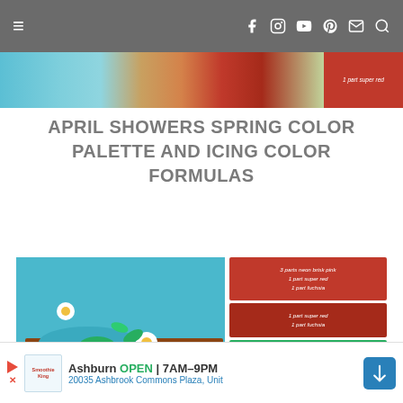Navigation bar with hamburger menu and social icons (Facebook, Instagram, YouTube, Pinterest, Email, Search)
[Figure (photo): Partial image strip showing colorful spring cookies with a red color block on the right side]
APRIL SHOWERS SPRING COLOR PALETTE AND ICING COLOR FORMULAS
[Figure (infographic): Left: photo of strawberry-shaped decorated cookies in red and green on teal background. Right: color swatches with icing formulas - 1) Dark red: 3 parts neon brisk pink, 1 part super red, 1 part fuchsia; 2) Medium red: 1 part super red, 1 part fuchsia; 3) Dark green: 1 part leaf green, 1 part lemon yellow; 4) Light green: 2 parts lemon yellow, 1 part leaf green; 5) Teal: 4 part turquoise, 1 part sky blue]
STRAWBERRY COLOR PALETTE AND ICING COLOR FORMULAS
Ashburn OPEN | 7AM–9PM  20035 Ashbrook Commons Plaza, Unit [Ad banner]